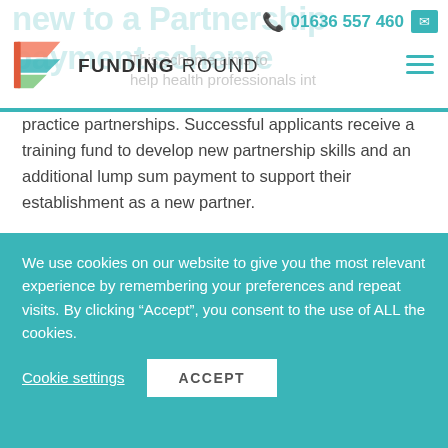new to a Partnership payment scheme
01636 557 460
[Figure (logo): Funding Round logo with coloured arrow/chevron shapes and text FUNDING ROUND]
practice partnerships. Successful applicants receive a training fund to develop new partnership skills and an additional lump sum payment to support their establishment as a new partner.
Applying for funding
We use cookies on our website to give you the most relevant experience by remembering your preferences and repeat visits. By clicking “Accept”, you consent to the use of ALL the cookies.
Cookie settings
ACCEPT